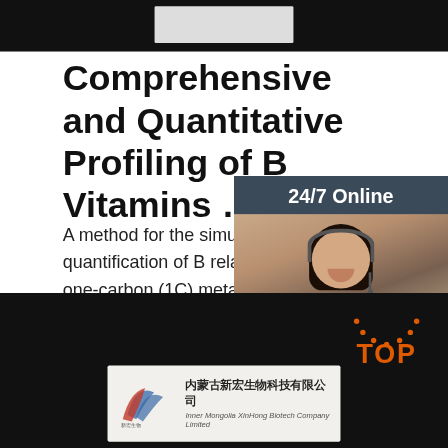[Figure (photo): Top black banner with a light gray/white rectangular box centered within it]
Comprehensive and Quantitative Profiling of B Vitamins …
A method for the simultaneous quantification of B related amines in one-carbon (1C) metabolism w the study of diet and genetic/epigenetic regulatio mammalian development and health. We presen method for the simultaneous quantitative analysi vitamers …
[Figure (photo): Green 'Get Price' button]
[Figure (photo): 24/7 Online chat widget sidebar with photo of woman wearing headset, 'Click here for free chat!' text, and orange QUOTATION button]
[Figure (photo): Bottom dark banner with orange TOP arc logo and company card showing Inner Mongolia XinHong Biotech Company Limited logo and Chinese text 内蒙古新宏生物科技有限公司]